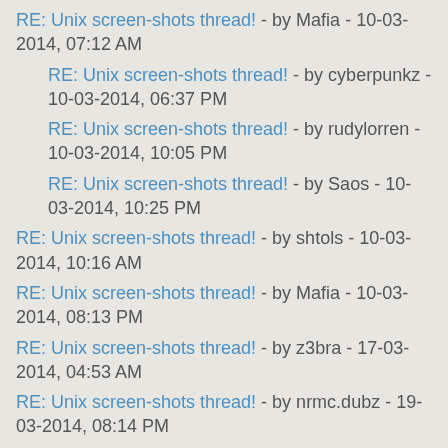RE: Unix screen-shots thread! - by Mafia - 10-03-2014, 07:12 AM
RE: Unix screen-shots thread! - by cyberpunkz - 10-03-2014, 06:37 PM
RE: Unix screen-shots thread! - by rudylorren - 10-03-2014, 10:05 PM
RE: Unix screen-shots thread! - by Saos - 10-03-2014, 10:25 PM
RE: Unix screen-shots thread! - by shtols - 10-03-2014, 10:16 AM
RE: Unix screen-shots thread! - by Mafia - 10-03-2014, 08:13 PM
RE: Unix screen-shots thread! - by z3bra - 17-03-2014, 04:53 AM
RE: Unix screen-shots thread! - by nrmc.dubz - 19-03-2014, 08:14 PM
RE: Unix screen-shots thread! - by DotDev - 20-03-2014, 11:31 PM
RE: Unix screen-shots thread! - by berk - 21-03-2014, 04:25 PM
RE: Unix screen-shots thread! - by DotDev - 21-03-2014, 07:08